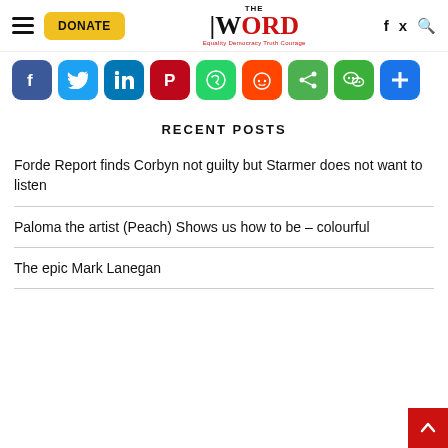THE WORD — Equality Democracy Truth Courage
[Figure (screenshot): Social media share buttons: Facebook, Twitter, LinkedIn, Pinterest, WhatsApp, Reddit, Share, WeChat, Add (plus)]
RECENT POSTS
Forde Report finds Corbyn not guilty but Starmer does not want to listen
Paloma the artist (Peach) Shows us how to be – colourful
The epic Mark Lanegan